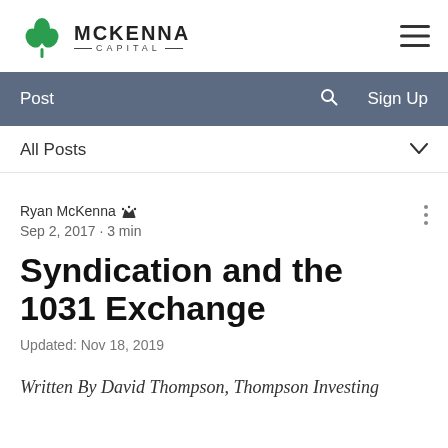[Figure (logo): McKenna Capital logo with shamrock and company name]
Post  🔍  Sign Up
All Posts
Ryan McKenna  [admin icon]
Sep 2, 2017 · 3 min
Syndication and the 1031 Exchange
Updated: Nov 18, 2019
Written By David Thompson, Thompson Investing